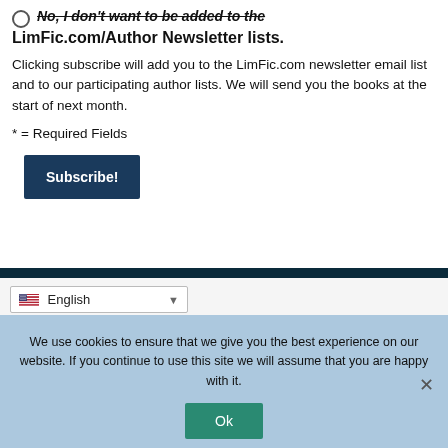No, I don't want to be added to the LimFic.com/Author Newsletter lists.
Clicking subscribe will add you to the LimFic.com newsletter email list and to our participating author lists. We will send you the books at the start of next month.
* = Required Fields
Subscribe!
English
We use cookies to ensure that we give you the best experience on our website. If you continue to use this site we will assume that you are happy with it.
Ok